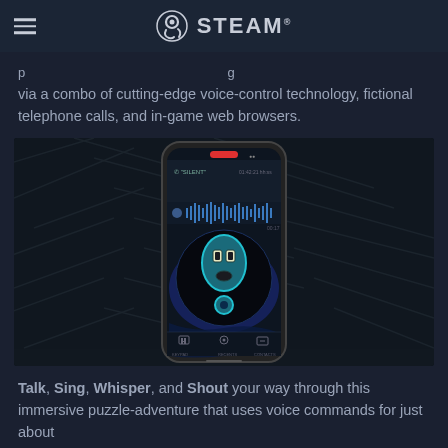STEAM
via a combo of cutting-edge voice-control technology, fictional telephone calls, and in-game web browsers.
[Figure (screenshot): Screenshot of a smartphone app showing a stylized exclamation mark character with a face on a dark blue background, with a music/audio player UI at the top]
Talk, Sing, Whisper, and Shout your way through this immersive puzzle-adventure that uses voice commands for just about